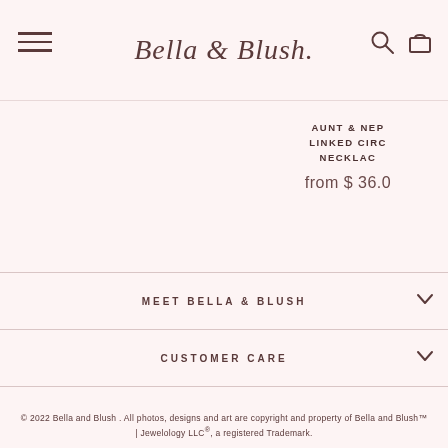Bella & Blush — navigation header with logo, hamburger menu, search and cart icons
AUNT & NEPHEW LINKED CIRCLE NECKLACE
from $ 36.00
MEET BELLA & BLUSH
CUSTOMER CARE
KEEP IN TOUCH!
© 2022 Bella and Blush . All photos, designs and art are copyright and property of Bella and Blush™ | Jewelology LLC®, a registered Trademark.